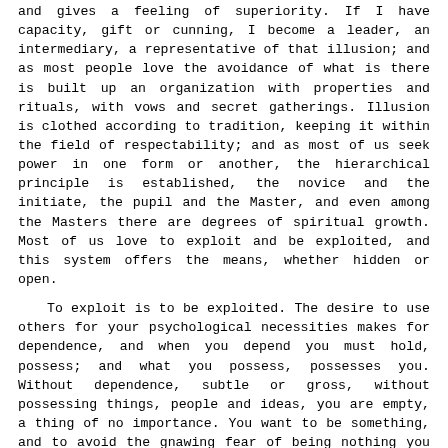and gives a feeling of superiority. If I have capacity, gift or cunning, I become a leader, an intermediary, a representative of that illusion; and as most people love the avoidance of what is there is built up an organization with properties and rituals, with vows and secret gatherings. Illusion is clothed according to tradition, keeping it within the field of respectability; and as most of us seek power in one form or another, the hierarchical principle is established, the novice and the initiate, the pupil and the Master, and even among the Masters there are degrees of spiritual growth. Most of us love to exploit and be exploited, and this system offers the means, whether hidden or open.
To exploit is to be exploited. The desire to use others for your psychological necessities makes for dependence, and when you depend you must hold, possess; and what you possess, possesses you. Without dependence, subtle or gross, without possessing things, people and ideas, you are empty, a thing of no importance. You want to be something, and to avoid the gnawing fear of being nothing you belong to this or that organization, to this or that ideology, to this church or that temple; so you are exploited, and you in your turn exploit. This hierarchical structure offers an excellent opportunity for self-expansion. You may want brotherhood, but how can there be brotherhood if you are pursuing spiritual distinctions? You may smile at worldly titles; but when you admit the Master, the saviour, the guru in the realm of the spirit, are you not carrying over the worldly attitude? Can there be hierarchical divisions or degrees in spiritual growth, in the understanding of truth, in the